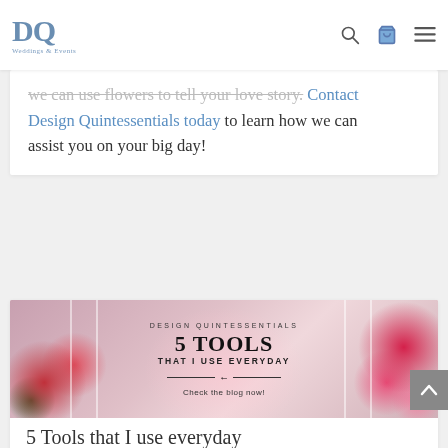DQ Weddings & Events — navigation bar with logo, search icon, cart icon, menu icon
we can use flowers to tell your love story. Contact Design Quintessentials today to learn how we can assist you on your big day!
[Figure (photo): Blog post promotional image with floral background. Text overlay reads: DESIGN QUINTESSENTIALS / 5 TOOLS / THAT I USE EVERYDAY / Check the blog now!]
5 Tools that I use everyday